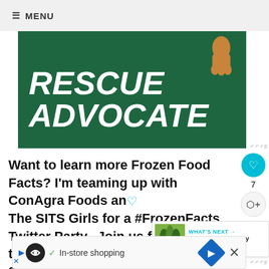MENU
[Figure (illustration): Green banner with large bold italic white text reading 'RESCUE ADVOCATE' with a dog's legs/paws visible in upper right corner]
Want to learn more Frozen Food Facts? I'm teaming up with ConAgra Foods and The SITS Girls for a #FrozenFacts Twitter Party.  Join us for one hour tomorrow  Thursday March 14, 2013  8 p.m. CST/9 p.m. EST to take a fresh look at frozen foods and do a little
[Figure (screenshot): What's Next panel showing image of green drinks with text 'Green Bloody Mary aka...']
[Figure (screenshot): Bottom advertisement bar with icons, checkmark, 'In-store shopping' text, navigation icons, and close button]